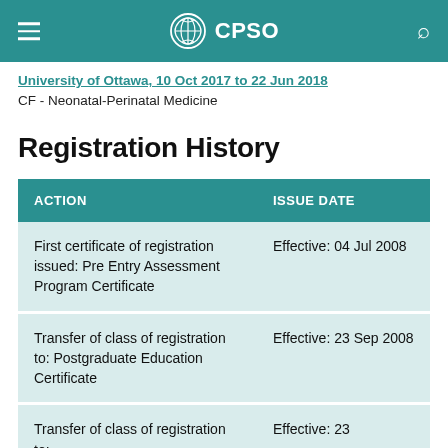CPSO
University of Ottawa, 10 Oct 2017 to 22 Jun 2018
CF - Neonatal-Perinatal Medicine
Registration History
| ACTION | ISSUE DATE |
| --- | --- |
| First certificate of registration issued: Pre Entry Assessment Program Certificate | Effective: 04 Jul 2008 |
| Transfer of class of registration to: Postgraduate Education Certificate | Effective: 23 Sep 2008 |
| Transfer of class of registration to: | Effective: 23 |